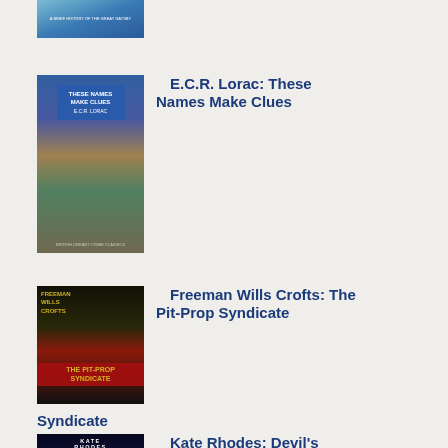[Figure (photo): Partial book cover at top of page, cropped]
[Figure (photo): Book cover: E.C.R. Lorac - These Names Make Clues, blue cover with ballroom scene]
E.C.R. Lorac: These Names Make Clues
[Figure (photo): Book cover: Freeman Wills Crofts - The Pit-Prop Syndicate, dark cover with yellow face]
Freeman Wills Crofts: The Pit-Prop Syndicate
[Figure (photo): Book cover: Kate Rhodes - Devil's Table]
Kate Rhodes: Devil's Table
mu
sa
it
hel
enc

I
alw
fin
it
har
to
co
out
int
the
rea
wo
afte
Wa
To
ste
out
in